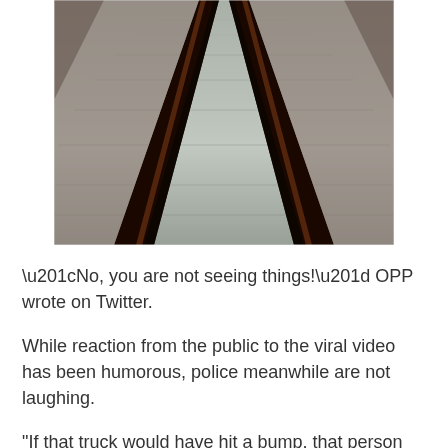[Figure (photo): A perspective view looking down train tracks receding into the distance, with concrete sleepers and two rails visible, taken from a low angle.]
“No, you are not seeing things!” OPP wrote on Twitter.
While reaction from the public to the viral video has been humorous, police meanwhile are not laughing.
"If that truck would have hit a bump, that person may have been thrown from that vehicle could